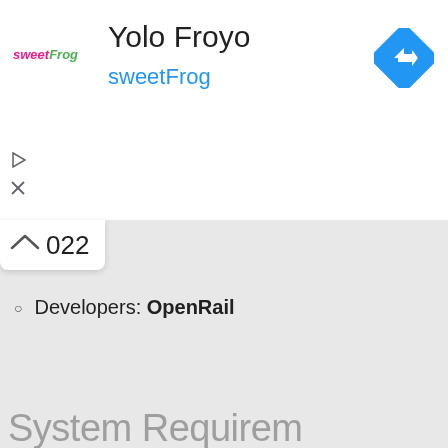Yolo Froyo
sweetFrog
[Figure (logo): sweetFrog branded logo with pink and green text on white background]
[Figure (infographic): Blue diamond navigation/directions icon with white right-turn arrow]
022
Developers: OpenRail
System Requirements f (partial, cut off at bottom)